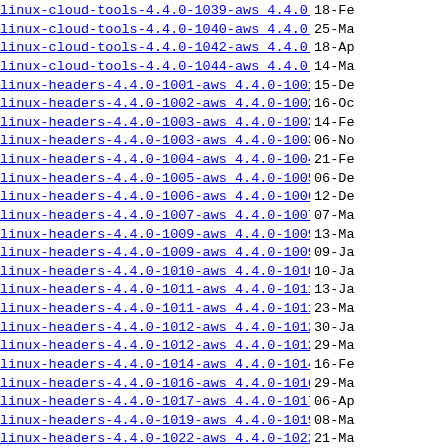linux-cloud-tools-4.4.0-1039-aws 4.4.0-1039.42 ..> 18-Fe
linux-cloud-tools-4.4.0-1040-aws 4.4.0-1040.43 ..> 25-Ma
linux-cloud-tools-4.4.0-1042-aws 4.4.0-1042.45 ..> 18-Ap
linux-cloud-tools-4.4.0-1044-aws 4.4.0-1044.47 ..> 14-Ma
linux-headers-4.4.0-1001-aws 4.4.0-1001.10 amd6..> 15-De
linux-headers-4.4.0-1002-aws 4.4.0-1002.2 amd64..> 16-Oc
linux-headers-4.4.0-1003-aws 4.4.0-1003.12 amd6..> 14-Fe
linux-headers-4.4.0-1003-aws 4.4.0-1003.3 amd64..> 06-No
linux-headers-4.4.0-1004-aws 4.4.0-1004.13 amd6..> 21-Fe
linux-headers-4.4.0-1005-aws 4.4.0-1005.5 amd64..> 06-De
linux-headers-4.4.0-1006-aws 4.4.0-1006.6 amd64..> 12-De
linux-headers-4.4.0-1007-aws 4.4.0-1007.16 amd6..> 07-Ma
linux-headers-4.4.0-1009-aws 4.4.0-1009.18 amd6..> 13-Ma
linux-headers-4.4.0-1009-aws 4.4.0-1009.9 amd64..> 09-Ja
linux-headers-4.4.0-1010-aws 4.4.0-1010.10 amd6..> 10-Ja
linux-headers-4.4.0-1011-aws 4.4.0-1011.11 amd6..> 13-Ja
linux-headers-4.4.0-1011-aws 4.4.0-1011.20 amd6..> 23-Ma
linux-headers-4.4.0-1012-aws 4.4.0-1012.12 amd6..> 30-Ja
linux-headers-4.4.0-1012-aws 4.4.0-1012.21 amd6..> 29-Ma
linux-headers-4.4.0-1014-aws 4.4.0-1014.14 amd6..> 16-Fe
linux-headers-4.4.0-1016-aws 4.4.0-1016.16 amd6..> 29-Ma
linux-headers-4.4.0-1017-aws 4.4.0-1017.17 amd6..> 06-Ap
linux-headers-4.4.0-1019-aws 4.4.0-1019.19 amd6..> 08-Ma
linux-headers-4.4.0-1022-aws 4.4.0-1022.22 amd6..> 21-Ma
linux-headers-4.4.0-1023-aws 4.4.0-1023.23 amd6..> 28-Ma
linux-headers-4.4.0-1024-aws 4.4.0-1024.25 amd6..> 18-Ju
linux-headers-4.4.0-1025-aws 4.4.0-1025.26 amd6..> 13-Ju
linux-headers-4.4.0-1027-aws 4.4.0-1027.30 amd6..> 14-Au
linux-headers-4.4.0-1028-aws 4.4.0-1028.31 amd6..> 17-Au
linux-headers-4.4.0-1029-aws 4.4.0-1029.32 amd6..> 28-Au